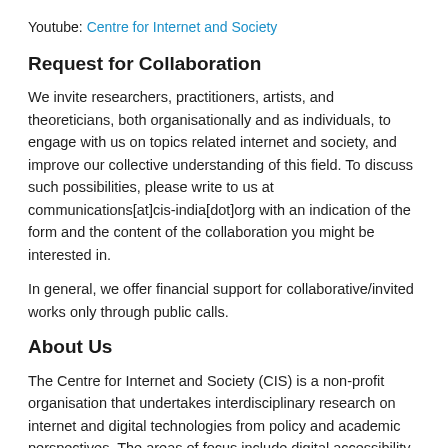Youtube: Centre for Internet and Society
Request for Collaboration
We invite researchers, practitioners, artists, and theoreticians, both organisationally and as individuals, to engage with us on topics related internet and society, and improve our collective understanding of this field. To discuss such possibilities, please write to us at communications[at]cis-india[dot]org with an indication of the form and the content of the collaboration you might be interested in.
In general, we offer financial support for collaborative/invited works only through public calls.
About Us
The Centre for Internet and Society (CIS) is a non-profit organisation that undertakes interdisciplinary research on internet and digital technologies from policy and academic perspectives. The areas of focus include digital accessibility for persons with disabilities, access to knowledge, intellectual property rights, openness (including open data, free and open source software, open standards, open access, open educational resources, and open video), internet governance, telecommunication reform, digital